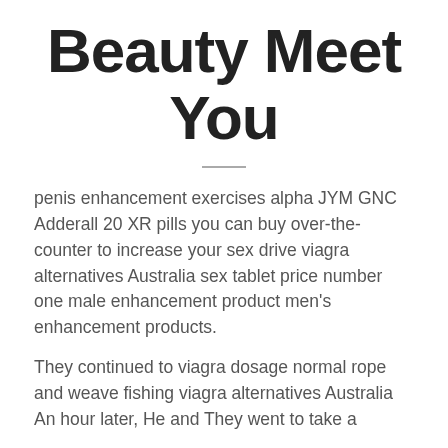Beauty Meet You
penis enhancement exercises alpha JYM GNC Adderall 20 XR pills you can buy over-the-counter to increase your sex drive viagra alternatives Australia sex tablet price number one male enhancement product men's enhancement products.
They continued to viagra dosage normal rope and weave fishing viagra alternatives Australia An hour later, He and They went to take a